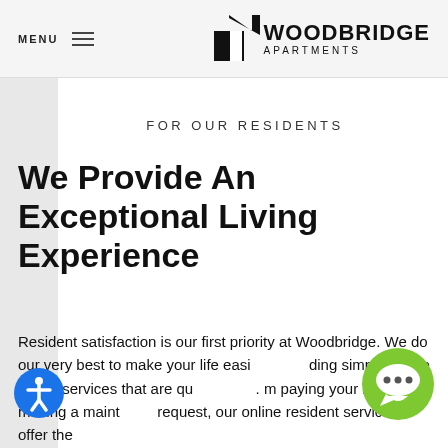MENU   WOODBRIDGE APARTMENTS
FOR OUR RESIDENTS
We Provide An Exceptional Living Experience
Resident satisfaction is our first priority at Woodbridge. We do our very best to make your life easi... ding simple to use online services that are qu... m paying your rent, to making a maint... request, our online resident services offer the